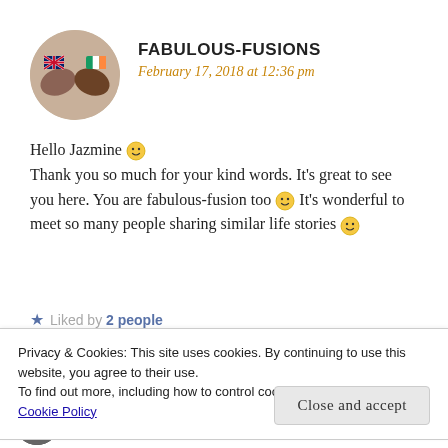[Figure (photo): Circular avatar image showing fists bumping with flag tattoos (UK and Irish flags visible)]
FABULOUS-FUSIONS
February 17, 2018 at 12:36 pm
Hello Jazmine 🙂
Thank you so much for your kind words. It's great to see you here. You are fabulous-fusion too 🙂 It's wonderful to meet so many people sharing similar life stories 🙂
Liked by 2 people
Privacy & Cookies: This site uses cookies. By continuing to use this website, you agree to their use.
To find out more, including how to control cookies, see here:
Cookie Policy
Close and accept
[Figure (photo): Circular avatar image for CZYMI.KB commenter]
CZYMI.KB